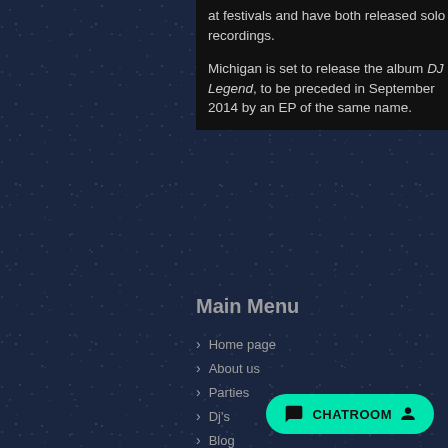at festivals and have both released solo recordings.

Michigan is set to release the album DJ Legend, to be preceded in September 2014 by an EP of the same name.
Main Menu
Home page
About us
Parties
Dj's
Blog
Contacts